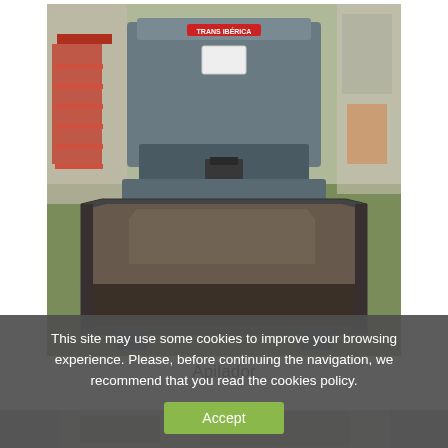[Figure (photo): Industrial stacker machine (Apilador) photographed in a warehouse/factory. The machine is grey/blue, heavy-duty, with a wide flat collection tray at the bottom and a vertical pressing or stacking mechanism above. A red brand logo is visible at the top of the machine.]
Apilador
This site may use some cookies to improve your browsing experience. Please, before continuing the navigation, we recommend that you read the cookies policy.